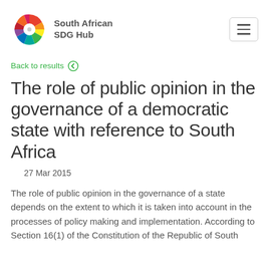South African SDG Hub
Back to results
The role of public opinion in the governance of a democratic state with reference to South Africa
27 Mar 2015
The role of public opinion in the governance of a state depends on the extent to which it is taken into account in the processes of policy making and implementation. According to Section 16(1) of the Constitution of the Republic of South